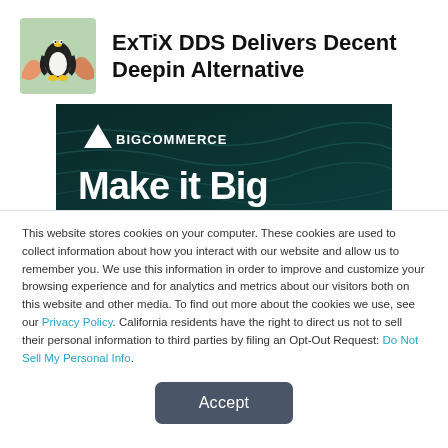ExTiX DDS Delivers Decent Deepin Alternative
[Figure (screenshot): BigCommerce 'Make it Big' promotional banner with dark teal background and white text]
This website stores cookies on your computer. These cookies are used to collect information about how you interact with our website and allow us to remember you. We use this information in order to improve and customize your browsing experience and for analytics and metrics about our visitors both on this website and other media. To find out more about the cookies we use, see our Privacy Policy. California residents have the right to direct us not to sell their personal information to third parties by filing an Opt-Out Request: Do Not Sell My Personal Info.